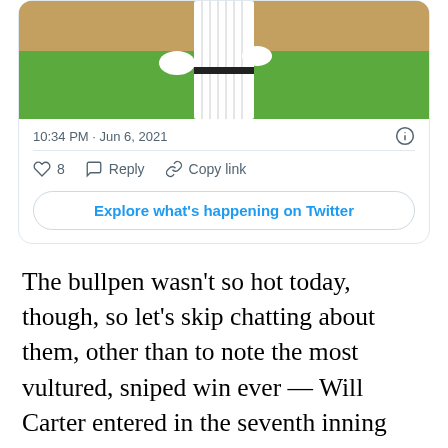[Figure (photo): A baseball player in white pinstripe uniform on a field with brown dirt and green grass background, partially cropped at top]
10:34 PM · Jun 6, 2021
8  Reply  Copy link
Explore what's happening on Twitter
The bullpen wasn't so hot today, though, so let's skip chatting about them, other than to note the most vultured, sniped win ever — Will Carter entered in the seventh inning and was awarded the win for striking out a guy before the rain washed away the final three frames.